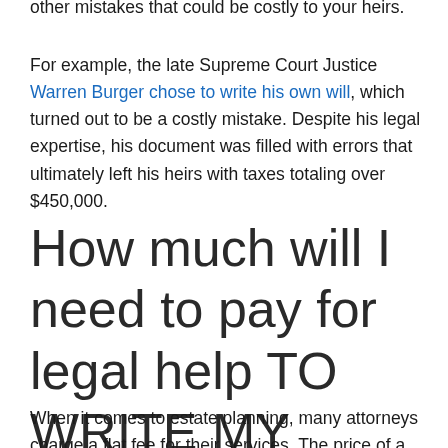other mistakes that could be costly to your heirs.
For example, the late Supreme Court Justice Warren Burger chose to write his own will, which turned out to be a costly mistake. Despite his legal expertise, his document was filled with errors that ultimately left his heirs with taxes totaling over $450,000.
How much will I need to pay for legal help TO WRITE MY WILL?
When it comes to estate planning, many attorneys charge a flat fee for their services. The price of a